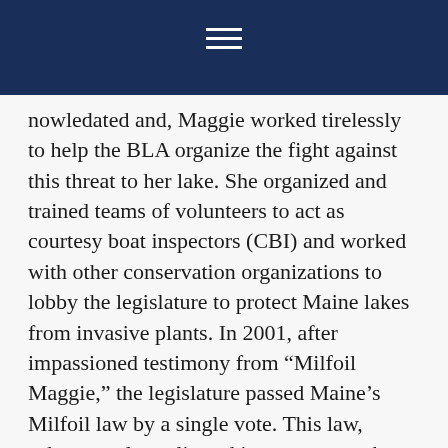[Navigation bar with hamburger menu]
nowledated and, Maggie worked tirelessly to help the BLA organize the fight against this threat to her lake. She organized and trained teams of volunteers to act as courtesy boat inspectors (CBI) and worked with other conservation organizations to lobby the legislature to protect Maine lakes from invasive plants. In 2001, after impassioned testimony from “Milfoil Maggie,” the legislature passed Maine’s Milfoil law by a single vote. This law, subsequently replicated in numerous other states, provides dedicated funding for invasive plant education,